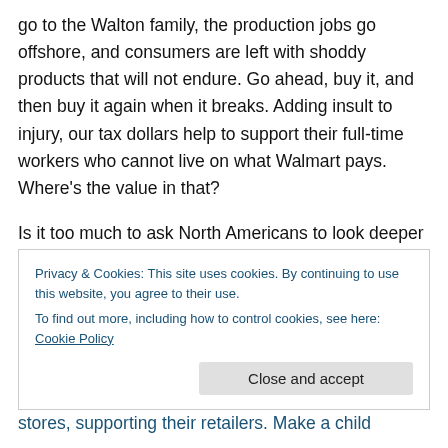go to the Walton family, the production jobs go offshore, and consumers are left with shoddy products that will not endure. Go ahead, buy it, and then buy it again when it breaks. Adding insult to injury, our tax dollars help to support their full-time workers who cannot live on what Walmart pays. Where's the value in that?
Is it too much to ask North Americans to look deeper into where their dollars go? I hope not. Buy local. Buy from your farmer's market or co-op. Support local tradespeople and service companies—before you head to the chain
Privacy & Cookies: This site uses cookies. By continuing to use this website, you agree to their use.
To find out more, including how to control cookies, see here: Cookie Policy
Close and accept
stores, supporting their retailers. Make a child...